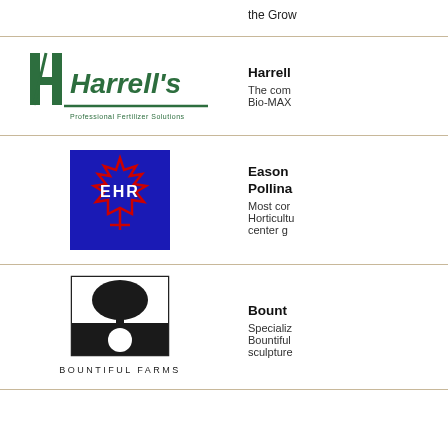[Figure (logo): Partial top entry with cropped logo and text 'the Grow']
the Grow
[Figure (logo): Harrell's Professional Fertilizer Solutions logo - green with stylized H]
Harrell
The com
Bio-MAX
[Figure (logo): EHR logo - blue square with red maple leaf design and EHR text]
Eason Pollina
Most cor Horticultu center g
[Figure (logo): Bountiful Farms logo - tree and moon in black box with text]
Bount
Specializ Bountiful sculpture